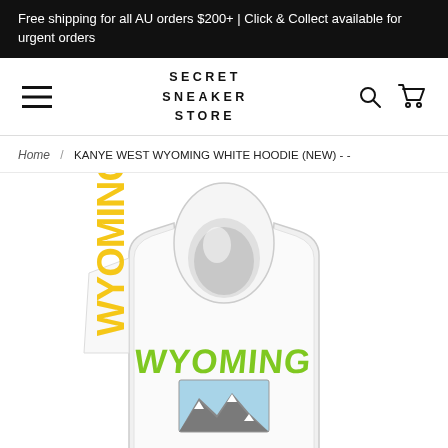Free shipping for all AU orders $200+ | Click & Collect available for urgent orders
[Figure (logo): Secret Sneaker Store logo with hamburger menu, search and cart icons]
Home / KANYE WEST WYOMING WHITE HOODIE (NEW) - -
[Figure (photo): Back view of a white Kanye West Wyoming hoodie showing green WYOMING text graffiti lettering and a mountain landscape photo patch, with yellow graphic on the sleeve]